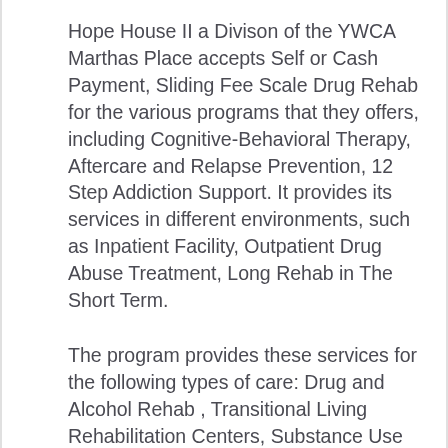Hope House II a Divison of the YWCA Marthas Place accepts Self or Cash Payment, Sliding Fee Scale Drug Rehab for the various programs that they offers, including Cognitive-Behavioral Therapy, Aftercare and Relapse Prevention, 12 Step Addiction Support. It provides its services in different environments, such as Inpatient Facility, Outpatient Drug Abuse Treatment, Long Rehab in The Short Term.
The program provides these services for the following types of care: Drug and Alcohol Rehab , Transitional Living Rehabilitation Centers, Substance Use Treatment Services. Lastly, the center has a few special programs for individuals like Drug and Alcohol...